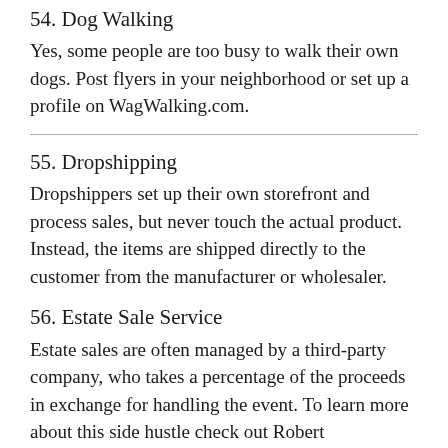54. Dog Walking
Yes, some people are too busy to walk their own dogs. Post flyers in your neighborhood or set up a profile on WagWalking.com.
55. Dropshipping
Dropshippers set up their own storefront and process sales, but never touch the actual product. Instead, the items are shipped directly to the customer from the manufacturer or wholesaler.
56. Estate Sale Service
Estate sales are often managed by a third-party company, who takes a percentage of the proceeds in exchange for handling the event. To learn more about this side hustle check out Robert Farrington's post on Budgets are Sexy